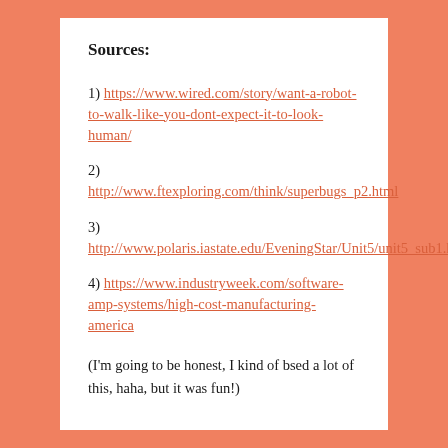Sources:
1) https://www.wired.com/story/want-a-robot-to-walk-like-you-dont-expect-it-to-look-human/
2) http://www.ftexploring.com/think/superbugs_p2.html
3) http://www.polaris.iastate.edu/EveningStar/Unit5/unit5_sub1.htm
4) https://www.industryweek.com/software-amp-systems/high-cost-manufacturing-america
(I'm going to be honest, I kind of bsed a lot of this, haha, but it was fun!)